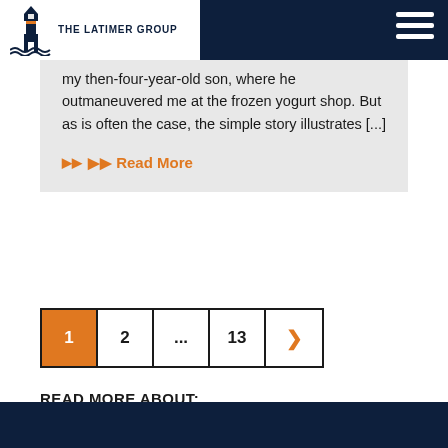The Latimer Group
my then-four-year-old son, where he outmaneuvered me at the frozen yogurt shop. But as is often the case, the simple story illustrates [...]
►► Read More
[Figure (other): Pagination navigation: page 1 (active/orange), 2, ..., 13, next arrow]
READ MORE ABOUT:
Sales Communication